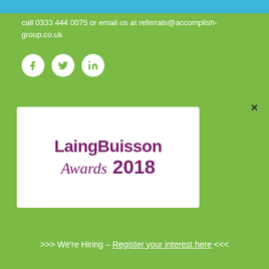call 0333 444 0075 or email us at referrals@accomplish-group.co.uk
[Figure (illustration): Social media icons: Facebook, Twitter, LinkedIn — white circles on green background]
[Figure (logo): LaingBuisson Awards 2018 logo in purple/magenta on white rectangular background]
>>> We're Hiring – Register your interest here <<<